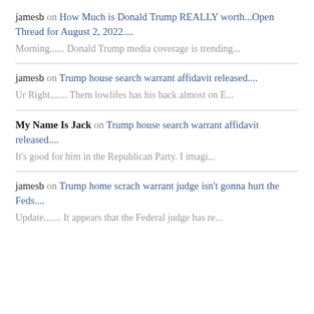jamesb on How Much is Donald Trump REALLY worth...Open Thread for August 2, 2022.... Morning...... Donald Trump media coverage is trending...
jamesb on Trump house search warrant affidavit released.... Ur Right....... Them lowlifes has his back almost on E...
My Name Is Jack on Trump house search warrant affidavit released.... It's good for him in the Republican Party. I imagi...
jamesb on Trump home scrach warrant judge isn't gonna hurt the Feds.... Update....... It appears that the Federal judge has re...